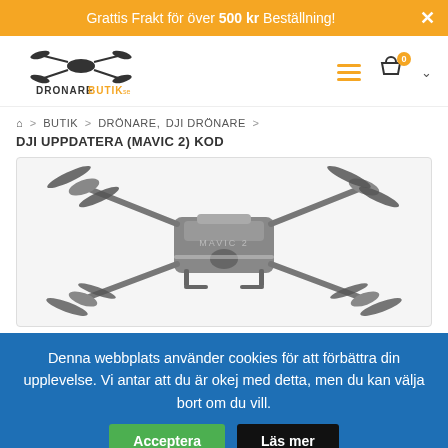Grattis Frakt för över 500 kr Beställning!
[Figure (logo): Dronare Butik logo with stylized drone silhouette graphic in black and orange text]
🏠 > BUTIK > DRÖNARE, DJI DRÖNARE >
DJI UPPDATERA (MAVIC 2) KOD
[Figure (photo): DJI Mavic 2 drone shown from above-front angle, silver-grey body with extended propeller arms, white background]
Denna webbplats använder cookies för att förbättra din upplevelse. Vi antar att du är okej med detta, men du kan välja bort om du vill.